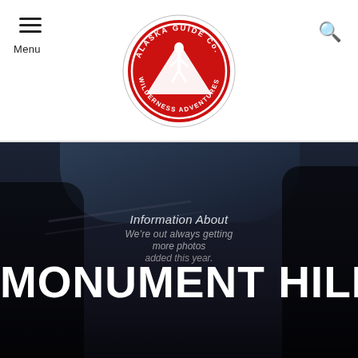Menu | Alaska Guide Co. Wilderness Adventures logo | Search
[Figure (logo): Alaska Guide Co. Wilderness Adventures circular logo with red background and white hiker silhouette]
[Figure (photo): Dark cockpit interior photograph used as hero background]
Information About
We're out always getting more photos added this year.
MONUMENT HILL